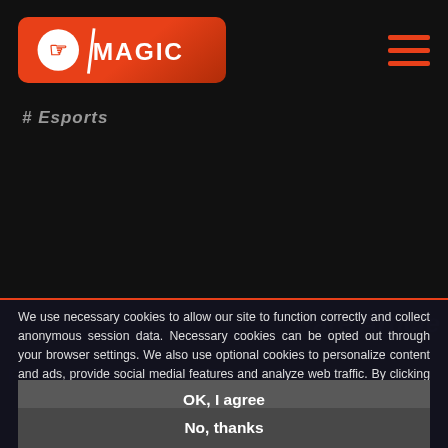[Figure (logo): Magic: The Gathering logo — white Planeswalker symbol on orange/red gradient background with 'MAGIC' text in white]
[Figure (other): Hamburger menu icon with three orange horizontal lines]
# Esports
We use necessary cookies to allow our site to function correctly and collect anonymous session data. Necessary cookies can be opted out through your browser settings. We also use optional cookies to personalize content and ads, provide social medial features and analyze web traffic. By clicking “OK, I agree,” you consent to optional cookies. (Learn more about cookies.)
OK, I agree
No, thanks
SOCIAL